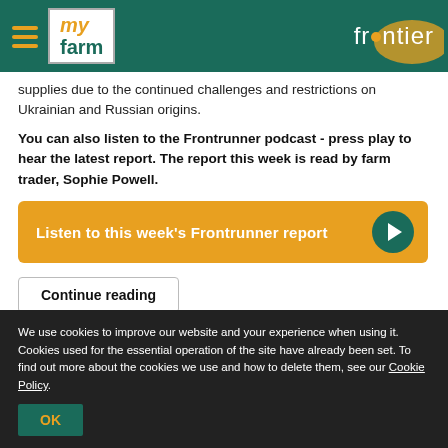my farm | frontier
supplies due to the continued challenges and restrictions on Ukrainian and Russian origins.
You can also listen to the Frontrunner podcast - press play to hear the latest report. The report this week is read by farm trader, Sophie Powell.
[Figure (other): Orange button: Listen to this week's Frontrunner report with play icon]
Continue reading
[Figure (other): Star rating row showing 5 empty stars, a badge with 0, and a comment icon with 0]
We use cookies to improve our website and your experience when using it. Cookies used for the essential operation of the site have already been set. To find out more about the cookies we use and how to delete them, see our Cookie Policy.